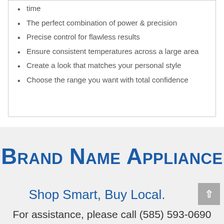time
The perfect combination of power & precision
Precise control for flawless results
Ensure consistent temperatures across a large area
Create a look that matches your personal style
Choose the range you want with total confidence
Brand Name Appliance
Shop Smart, Buy Local.
For assistance, please call (585) 593-0690